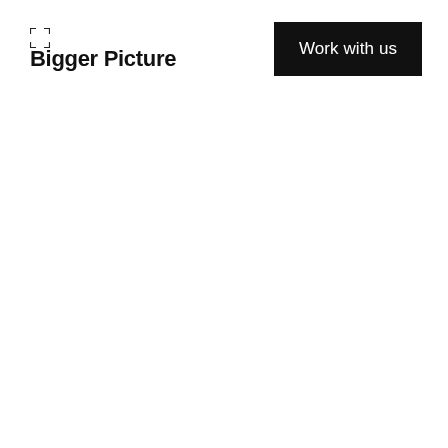[Figure (logo): Small square bracket/focus icon made of corner marks]
Bigger Picture
[Figure (other): Black rectangle button with white text 'Work with us']